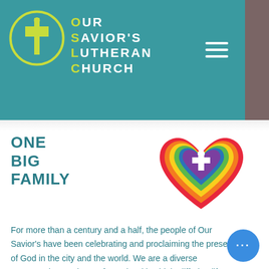Our Savior's Lutheran Church
ONE BIG FAMILY
[Figure (illustration): Rainbow-colored layered hearts with a white Christian cross in the center purple heart]
For more than a century and a half, the people of Our Savior's have been celebrating and proclaiming the presence of God in the city and the world. We are a diverse congregation made up of people with widely differing life stories and experiences. Yet, united in Christ, are all truly equal. No matter who you